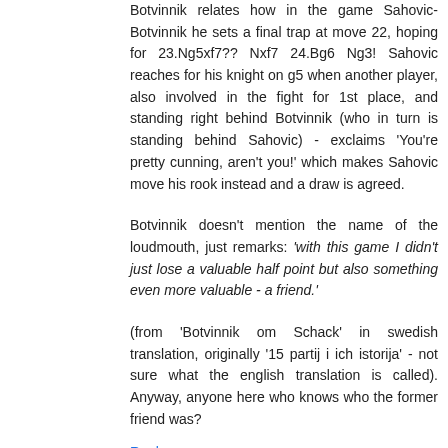Botvinnik relates how in the game Sahovic-Botvinnik he sets a final trap at move 22, hoping for 23.Ng5xf7?? Nxf7 24.Bg6 Ng3! Sahovic reaches for his knight on g5 when another player, also involved in the fight for 1st place, and standing right behind Botvinnik (who in turn is standing behind Sahovic) - exclaims 'You're pretty cunning, aren't you!' which makes Sahovic move his rook instead and a draw is agreed.
Botvinnik doesn't mention the name of the loudmouth, just remarks: 'with this game I didn't just lose a valuable half point but also something even more valuable - a friend.'
(from 'Botvinnik om Schack' in swedish translation, originally '15 partij i ich istorija' - not sure what the english translation is called). Anyway, anyone here who knows who the former friend was?
Reply
Naisortep 7:06 PM
Regarding this incident Korchnoi says::